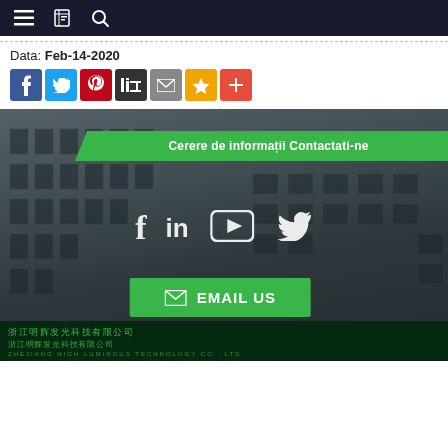Navigation bar with menu, bookmark, and search icons
Data: Feb-14-2020
[Figure (screenshot): Social sharing icons row: Facebook (blue), Twitter (light blue), Pinterest (red), Digg (dark), Email (gray), Star/Bookmark (gold), Plus (red)]
[Figure (photo): Building photo with green banner overlay reading 'Cerere de informații Contactati-ne', social media icons (Facebook f, LinkedIn in, YouTube play button, Twitter bird) overlaid on building image, green EMAIL US button, and Chinese company sign at bottom: 浙江明辉发光科技有限公司 / ZHEJIANG HIGH LUMINOUS TECHNOLOGY CO., LTD.]
Cerere de informații Contactati-ne
EMAIL US